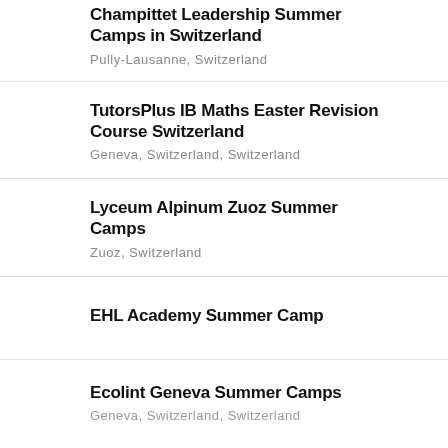Champittet Leadership Summer Camps in Switzerland
Pully-Lausanne, Switzerland
TutorsPlus IB Maths Easter Revision Course Switzerland
Geneva, Switzerland, Switzerland
Lyceum Alpinum Zuoz Summer Camps
Zuoz, Switzerland
EHL Academy Summer Camp
Ecolint Geneva Summer Camps
Geneva, Switzerland, Switzerland